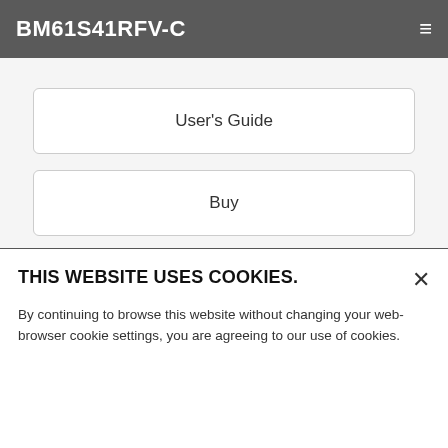BM61S41RFV-C
User's Guide
Buy
Related Products
Other New/Updated Products Relating to BM61S41RFV-C
THIS WEBSITE USES COOKIES.
By continuing to browse this website without changing your web-browser cookie settings, you are agreeing to our use of cookies.